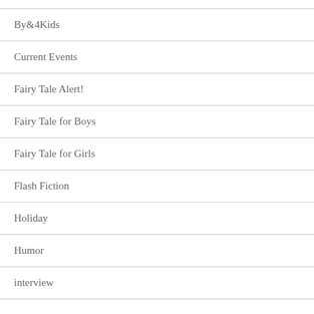By&4Kids
Current Events
Fairy Tale Alert!
Fairy Tale for Boys
Fairy Tale for Girls
Flash Fiction
Holiday
Humor
interview